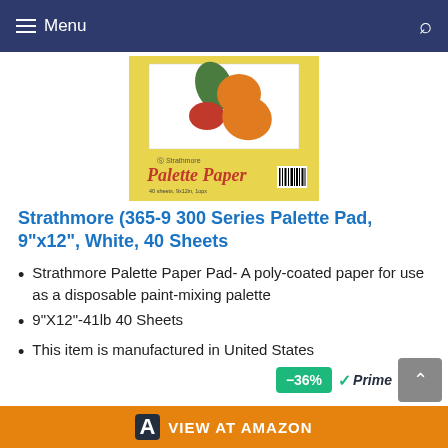Menu
[Figure (photo): Strathmore Palette Paper pad product image on yellow background with paint shapes]
Strathmore (365-9 300 Series Palette Pad, 9"x12", White, 40 Sheets
Strathmore Palette Paper Pad- A poly-coated paper for use as a disposable paint-mixing palette
9"X12"-41lb 40 Sheets
This item is manufactured in United States
-36% Prime VIEW AT AMAZON